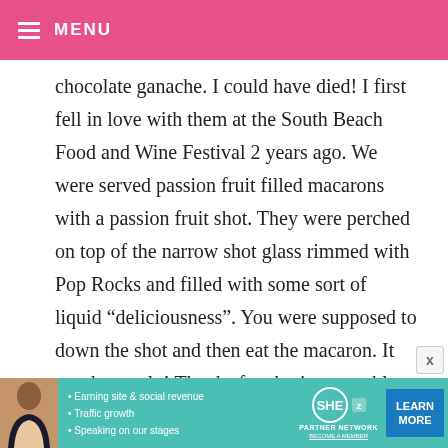MENU
chocolate ganache. I could have died! I first fell in love with them at the South Beach Food and Wine Festival 2 years ago. We were served passion fruit filled macarons with a passion fruit shot. They were perched on top of the narrow shot glass rimmed with Pop Rocks and filled with some sort of liquid “deliciousness”. You were supposed to down the shot and then eat the macaron. It was heavenly! Thanks for sharing your blue ones. I
[Figure (infographic): SHE Partner Network advertisement banner with photo of woman, bullet points about earning site & social revenue, traffic growth, speaking on stages, SHE logo, and Learn More button]